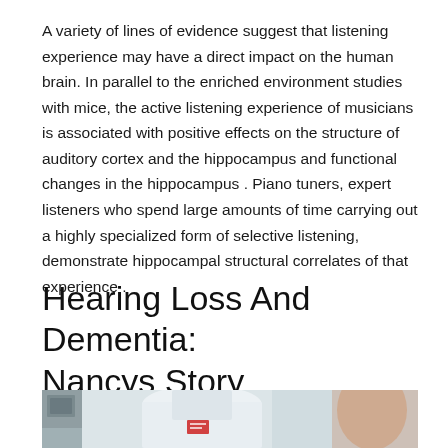A variety of lines of evidence suggest that listening experience may have a direct impact on the human brain. In parallel to the enriched environment studies with mice, the active listening experience of musicians is associated with positive effects on the structure of auditory cortex and the hippocampus and functional changes in the hippocampus . Piano tuners, expert listeners who spend large amounts of time carrying out a highly specialized form of selective listening, demonstrate hippocampal structural correlates of that experience .
Hearing Loss And Dementia: Nancys Story
[Figure (photo): A person in a white medical coat, partial view showing torso area, with another person partially visible on the right side.]